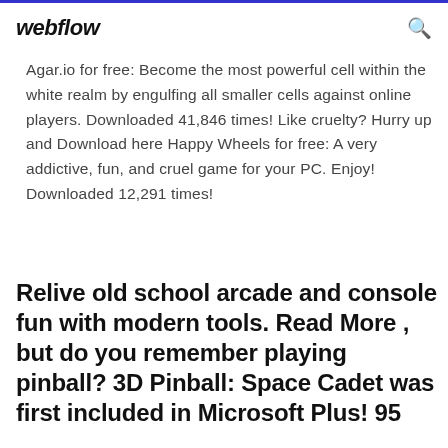webflow
Agar.io for free: Become the most powerful cell within the white realm by engulfing all smaller cells against online players. Downloaded 41,846 times! Like cruelty? Hurry up and Download here Happy Wheels for free: A very addictive, fun, and cruel game for your PC. Enjoy! Downloaded 12,291 times!
Relive old school arcade and console fun with modern tools. Read More , but do you remember playing pinball? 3D Pinball: Space Cadet was first included in Microsoft Plus! 95